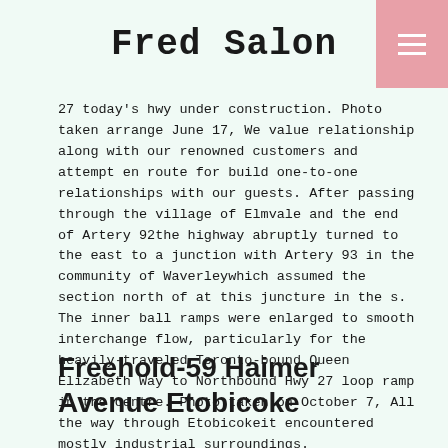Fred Salon
27 today's hwy under construction. Photo taken arrange June 17, We value relationship along with our renowned customers and attempt en route for build one-to-one relationships with our guests. After passing through the village of Elmvale and the end of Artery 92the highway abruptly turned to the east to a junction with Artery 93 in the community of Waverleywhich assumed the section north of at this juncture in the s. The inner ball ramps were enlarged to smooth interchange flow, particularly for the heavily-traveled Toronto-bound Queen Elizabeth Way to Northbound Hwy 27 loop ramp in the centre. Photo taken on October 7, All the way through Etobicokeit encountered mostly industrial surroundings.
Freehold-59 Haimer Avenue Etobicoke